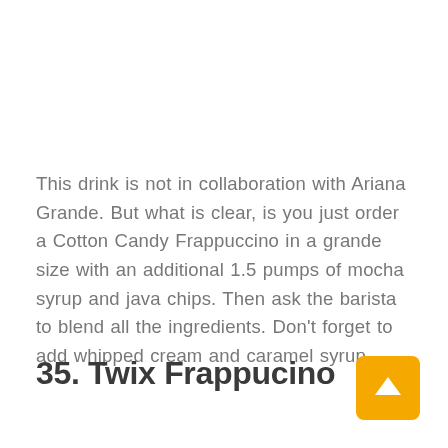This drink is not in collaboration with Ariana Grande. But what is clear, is you just order a Cotton Candy Frappuccino in a grande size with an additional 1.5 pumps of mocha syrup and java chips. Then ask the barista to blend all the ingredients. Don't forget to add whipped cream and caramel syrup.
35. Twix Frappucino